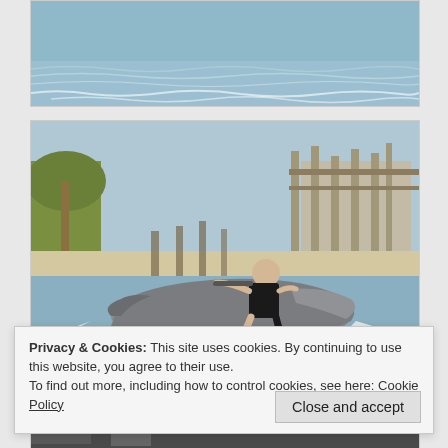[Figure (photo): Top portion of a photo showing ocean water with waves, partially cropped]
[Figure (photo): Woman in black swimsuit riding a jet ski on the water near a marina dock with palm trees in the background]
Privacy & Cookies: This site uses cookies. By continuing to use this website, you agree to their use.
To find out more, including how to control cookies, see here: Cookie Policy
[Figure (photo): Bottom cropped photo strip, partially visible]